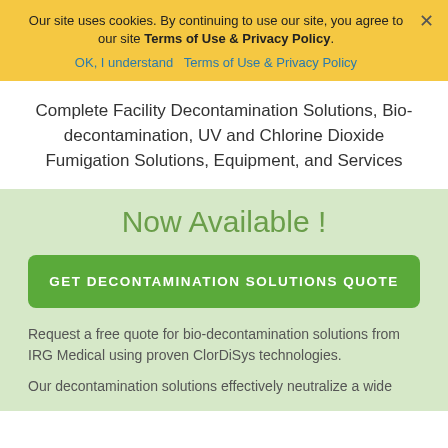Our site uses cookies. By continuing to use our site, you agree to our site Terms of Use & Privacy Policy.
OK, I understand   Terms of Use & Privacy Policy
Complete Facility Decontamination Solutions, Bio-decontamination, UV and Chlorine Dioxide Fumigation Solutions, Equipment, and Services
Now Available !
GET DECONTAMINATION SOLUTIONS QUOTE
Request a free quote for bio-decontamination solutions from IRG Medical using proven ClorDiSys technologies.
Our decontamination solutions effectively neutralize a wide